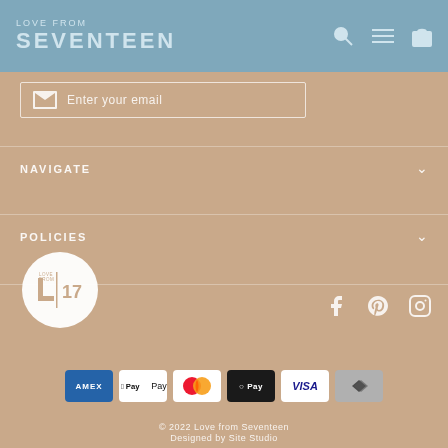LOVE FROM SEVENTEEN
Enter your email
NAVIGATE
POLICIES
[Figure (logo): Love From Seventeen circular logo with stylized L and 17]
[Figure (infographic): Social media icons: Facebook, Pinterest, Instagram]
[Figure (infographic): Payment method badges: AMEX, Apple Pay, Mastercard, OPay, VISA, Afterpay]
© 2022 Love from Seventeen
Designed by Site Studio